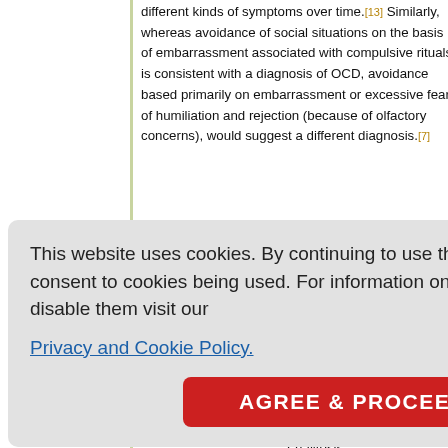different kinds of symptoms over time.[13] Similarly, whereas avoidance of social situations on the basis of embarrassment associated with compulsive rituals is consistent with a diagnosis of OCD, avoidance based primarily on embarrassment or excessive fear of humiliation and rejection (because of olfactory concerns), would suggest a different diagnosis.[7]
[Figure (screenshot): Cookie consent popup overlay with text: 'This website uses cookies. By continuing to use this website you are giving consent to cookies being used. For information on cookies and how you can disable them visit our Privacy and Cookie Policy.' and an AGREE & PROCEED button.]
withdraw... or within the episode. n depressing age and n, voidance is s about bo halitosis and such ronologica history may be particularly helpful